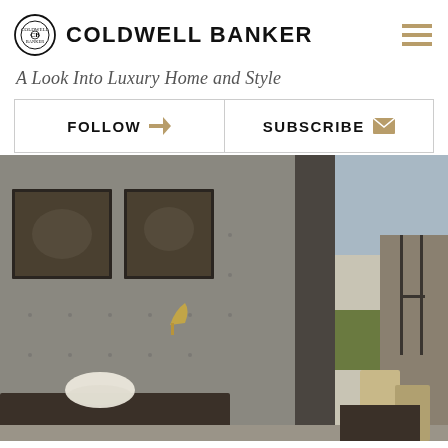COLDWELL BANKER
A Look Into Luxury Home and Style
FOLLOW   SUBSCRIBE
[Figure (photo): Interior of a luxury home showing a concrete wall with framed black-and-white photographs, a wall sconce, a dark console table with a decorative bowl, and an open sliding door leading to an outdoor area with green landscape and steel-framed windows on the right.]